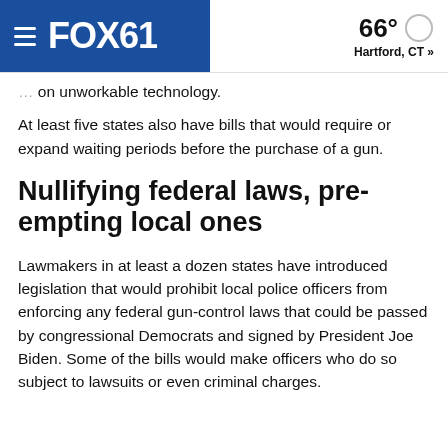FOX61 — 66° Hartford, CT »
on unworkable technology.
At least five states also have bills that would require or expand waiting periods before the purchase of a gun.
Nullifying federal laws, pre-empting local ones
Lawmakers in at least a dozen states have introduced legislation that would prohibit local police officers from enforcing any federal gun-control laws that could be passed by congressional Democrats and signed by President Joe Biden. Some of the bills would make officers who do so subject to lawsuits or even criminal charges.